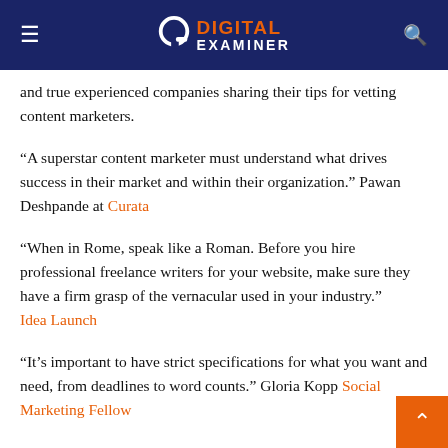Digital Examiner
and true experienced companies sharing their tips for vetting content marketers.
“A superstar content marketer must understand what drives success in their market and within their organization.” Pawan Deshpande at Curata
“When in Rome, speak like a Roman. Before you hire professional freelance writers for your website, make sure they have a firm grasp of the vernacular used in your industry.” Idea Launch
“It’s important to have strict specifications for what you want and need, from deadlines to word counts.” Gloria Kopp Social Marketing Fellow